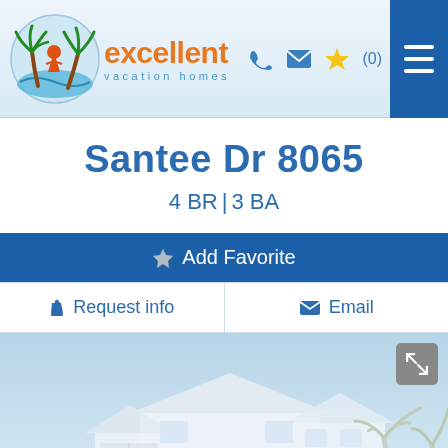excellent vacation homes — header with logo, phone, email, star(0) icons, and menu
Santee Dr 8065
4 BR| 3 BA
★ Add Favorite
✏ Request info
✉ Email
[Figure (photo): Exterior photo of a vacation home with palm trees and light blue sky background]